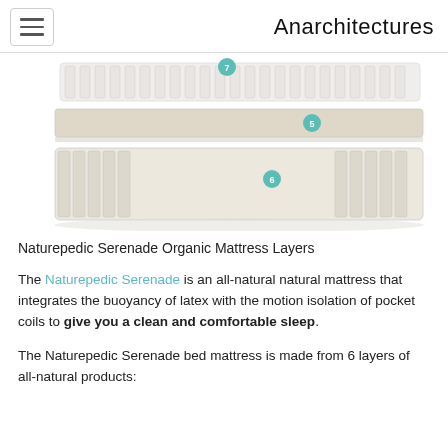Anarchitectures
[Figure (illustration): Cross-section exploded view of the Naturepedic Serenade Organic Mattress showing multiple layers including spring coils on top, a cream/beige comfort layer labeled 5, and the base unit labeled 6 with spring coils on the sides.]
Naturepedic Serenade Organic Mattress Layers
The Naturepedic Serenade is an all-natural natural mattress that integrates the buoyancy of latex with the motion isolation of pocket coils to give you a clean and comfortable sleep.
The Naturepedic Serenade bed mattress is made from 6 layers of all-natural products: